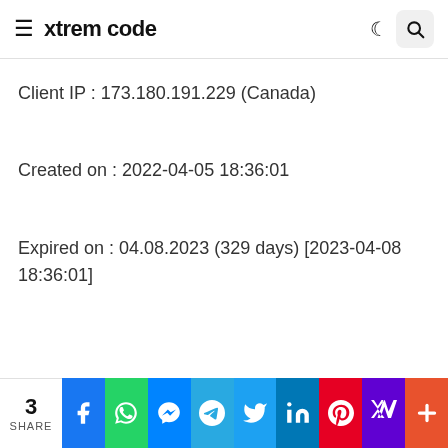≡ xtrem code
Client IP : 173.180.191.229 (Canada)
Created on : 2022-04-05 18:36:01
Expired on : 04.08.2023 (329 days) [2023-04-08 18:36:01]
3 SHARE | Facebook | WhatsApp | Messenger | Telegram | Twitter | LinkedIn | Pinterest | Yahoo | More